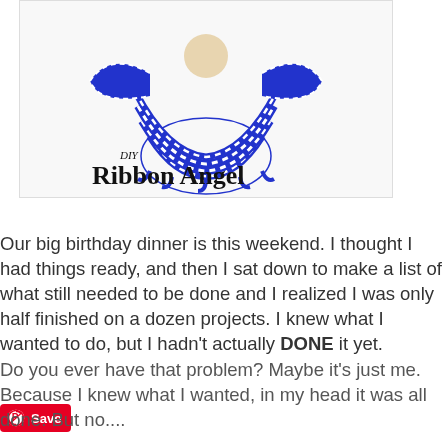[Figure (photo): A DIY Ribbon Angel craft made from blue and white striped ribbons shaped into an angel figure, with text overlay reading 'DIY Ribbon Angel']
Save
Our big birthday dinner is this weekend.  I thought I had things ready, and then I sat down to make a list of what still needed to be done and I realized I was only half finished on a dozen projects.  I knew what I wanted to do, but I hadn't actually DONE it yet.
Do you ever have that problem?  Maybe it's just me.  Because I knew what I wanted, in my head it was all done.  But no....